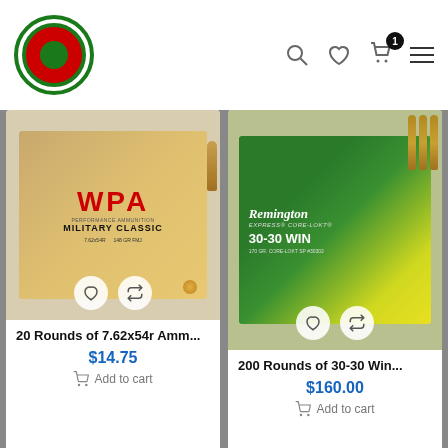[Figure (screenshot): E-commerce website screenshot showing ammunition products for sale with navigation header, product cards, pagination, search section, and bottom navigation bar]
20 Rounds of 7.62x54r Amm...
$14.75
Add to cart
200 Rounds of 30-30 Win...
$160.00
Add to cart
1
2
→
Search
1